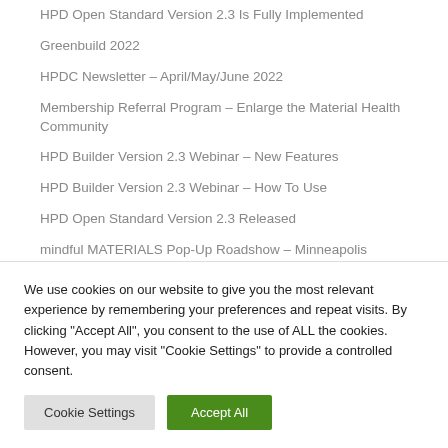HPD Open Standard Version 2.3 Is Fully Implemented
Greenbuild 2022
HPDC Newsletter – April/May/June 2022
Membership Referral Program – Enlarge the Material Health Community
HPD Builder Version 2.3 Webinar – New Features
HPD Builder Version 2.3 Webinar – How To Use
HPD Open Standard Version 2.3 Released
mindful MATERIALS Pop-Up Roadshow – Minneapolis
We use cookies on our website to give you the most relevant experience by remembering your preferences and repeat visits. By clicking "Accept All", you consent to the use of ALL the cookies. However, you may visit "Cookie Settings" to provide a controlled consent.
Cookie Settings | Accept All